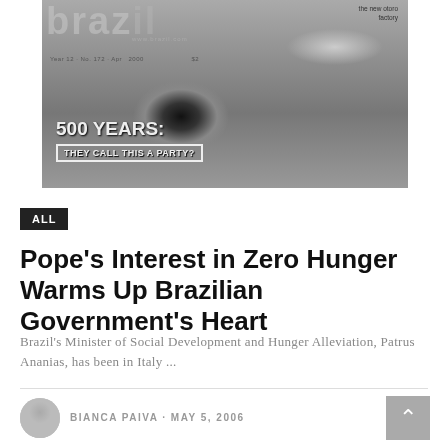[Figure (photo): Black and white magazine cover of 'Brazil' magazine showing a close-up eye photograph with text '500 YEARS: THEY CALL THIS A PARTY?' The cover shows 'www.brazil.com', 'the new otoro factory', and issue information 'Year 12 · No. 172 · Apr 2000']
ALL
Pope's Interest in Zero Hunger Warms Up Brazilian Government's Heart
Brazil's Minister of Social Development and Hunger Alleviation, Patrus Ananias, has been in Italy ...
BIANCA PAIVA · MAY 5, 2006